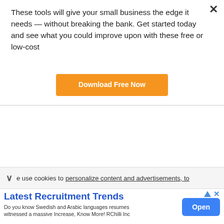These tools will give your small business the edge it needs — without breaking the bank. Get started today and see what you could improve upon with these free or low-cost
[Figure (other): Orange button labeled 'Download Free Now']
e use cookies to personalize content and advertisements, to
Latest Recruitment Trends
Do you know Swedish and Arabic languages resumes witnessed a massive Increase, Know More! RChilli Inc
[Figure (other): Blue 'Open' button for advertisement]